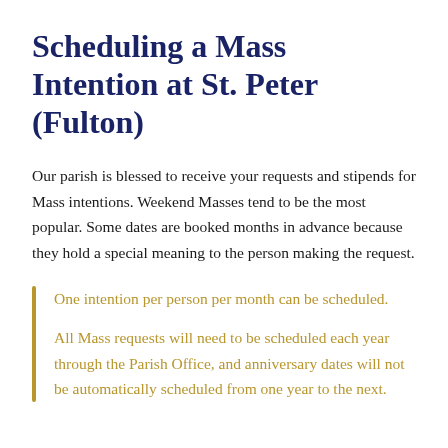Scheduling a Mass Intention at St. Peter (Fulton)
Our parish is blessed to receive your requests and stipends for Mass intentions. Weekend Masses tend to be the most popular. Some dates are booked months in advance because they hold a special meaning to the person making the request.
One intention per person per month can be scheduled.
All Mass requests will need to be scheduled each year through the Parish Office, and anniversary dates will not be automatically scheduled from one year to the next.